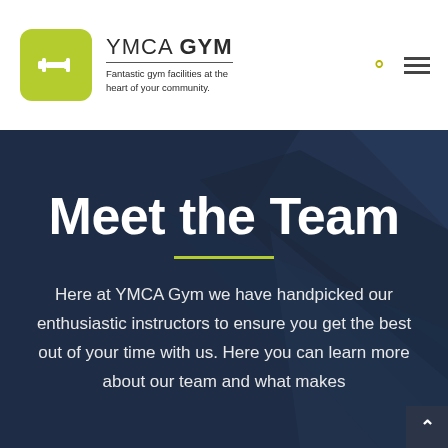[Figure (logo): YMCA Gym logo: green rounded square with white dumbbell icon, text 'YMCA GYM' with tagline 'Fantastic gym facilities at the heart of your community.']
Meet the Team
Here at YMCA Gym we have handpicked our enthusiastic instructors to ensure you get the best out of your time with us. Here you can learn more about our team and what makes